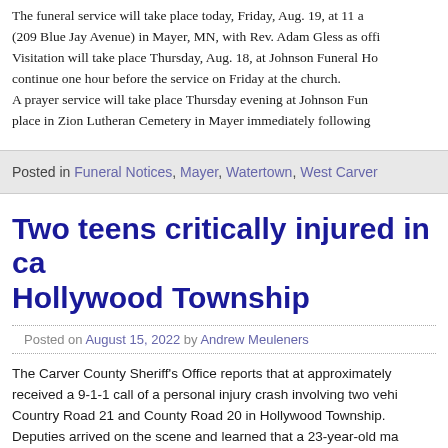The funeral service will take place today, Friday, Aug. 19, at 11 a... (209 Blue Jay Avenue) in Mayer, MN, with Rev. Adam Gless as offi... Visitation will take place Thursday, Aug. 18, at Johnson Funeral Ho... continue one hour before the service on Friday at the church. A prayer service will take place Thursday evening at Johnson Fune... place in Zion Lutheran Cemetery in Mayer immediately following...
Posted in Funeral Notices, Mayer, Watertown, West Carver
Two teens critically injured in ca... Hollywood Township
Posted on August 15, 2022 by Andrew Meuleners
The Carver County Sheriff's Office reports that at approximately... received a 9-1-1 call of a personal injury crash involving two vehi... Country Road 21 and County Road 20 in Hollywood Township. Deputies arrived on the scene and learned that a 23-year-old ma...